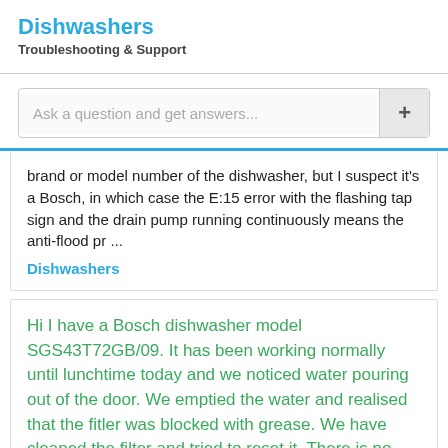Dishwashers
Troubleshooting & Support
Ask a question and get answers...
brand or model number of the dishwasher, but I suspect it's a Bosch, in which case the E:15 error with the flashing tap sign and the drain pump running continuously means the anti-flood pr ...
Dishwashers
Hi I have a Bosch dishwasher model SGS43T72GB/09. It has been working normally until lunchtime today and we noticed water pouring out of the door. We emptied the water and realised that the fitler was blocked with grease. We have cleaned the filter and tried to reset it. There is no water in it but all three lights are on check water, active & end